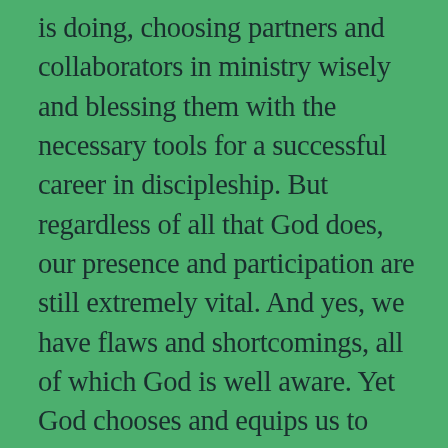is doing, choosing partners and collaborators in ministry wisely and blessing them with the necessary tools for a successful career in discipleship. But regardless of all that God does, our presence and participation are still extremely vital. And yes, we have flaws and shortcomings, all of which God is well aware. Yet God chooses and equips us to accomplish amazing things. Financial stability may not be a top priority for God, but he takes great care of his own. And the retirement plan is